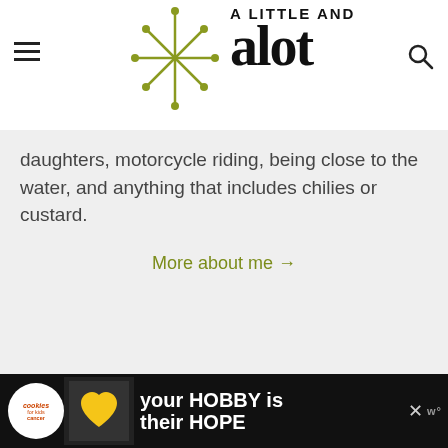A LITTLE AND ALOT — website header with logo and navigation
daughters, motorcycle riding, being close to the water, and anything that includes chilies or custard.
More about me →
Sign up for email updates
* indicates required
[Figure (screenshot): Advertisement banner at bottom: cookies for kids cancer — your HOBBY is their HOPE]